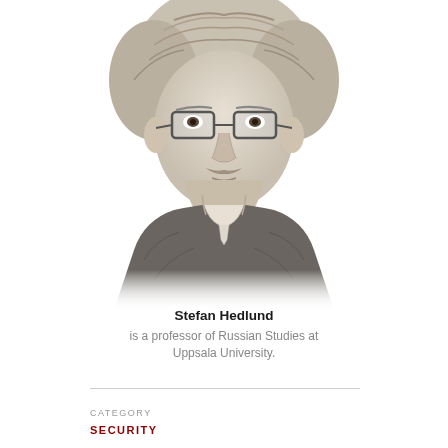[Figure (illustration): Pencil sketch portrait of Stefan Hedlund, a middle-aged man with glasses, short light hair, a mustache, wearing a dark sweater over a collared shirt.]
Stefan Hedlund
is a professor of Russian Studies at Uppsala University.
CATEGORY
SECURITY